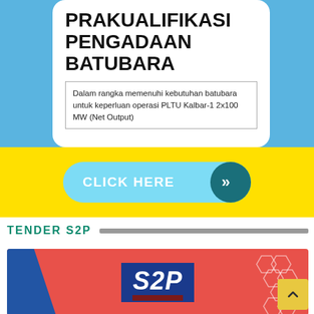PRAKUALIFIKASI PENGADAAN BATUBARA
Dalam rangka memenuhi kebutuhan batubara untuk keperluan operasi PLTU Kalbar-1 2x100 MW (Net Output)
[Figure (infographic): Yellow banner with 'CLICK HERE' button in light blue pill shape with dark teal circular arrow icon]
TENDER S2P
[Figure (logo): S2P logo on red/coral background banner with dark blue diagonal on left and geometric hexagon pattern on right. S2P text in white italic bold on dark navy background with dark red underbar.]